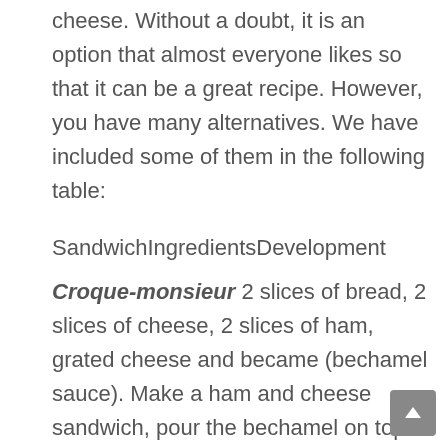cheese. Without a doubt, it is an option that almost everyone likes so that it can be a great recipe. However, you have many alternatives. We have included some of them in the following table:
SandwichIngredientsDevelopment
Croque-monsieur 2 slices of bread, 2 slices of cheese, 2 slices of ham, grated cheese and became (bechamel sauce). Make a ham and cheese sandwich, pour the bechamel on top and the grated cheese—baked gratin.
Russian salad sandwich Remains of a Russian salad. It's one of the most successful sandwiches. You can prepare it with the remains of a Russian